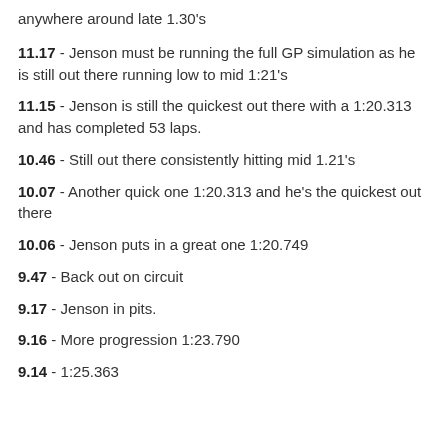anywhere around late 1.30's
11.17 - Jenson must be running the full GP simulation as he is still out there running low to mid 1:21's
11.15 - Jenson is still the quickest out there with a 1:20.313 and has completed 53 laps.
10.46 - Still out there consistently hitting mid 1.21's
10.07 - Another quick one 1:20.313 and he's the quickest out there
10.06 - Jenson puts in a great one 1:20.749
9.47 - Back out on circuit
9.17 - Jenson in pits.
9.16 - More progression 1:23.790
9.14 - 1:25.363